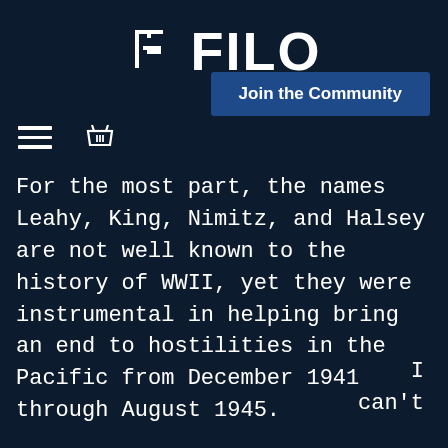FILO
Join the Community
For the most part, the names Leahy, King, Nimitz, and Halsey are not well known to the history of WWII, yet they were instrumental in helping bring an end to hostilities in the Pacific from December 1941 through August 1945.
I can't